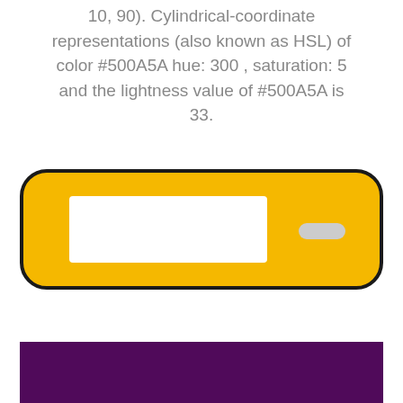10, 90). Cylindrical-coordinate representations (also known as HSL) of color #500A5A hue: 300 , saturation: 5 and the lightness value of #500A5A is 33.
[Figure (other): A rounded rectangle with yellow/golden background (#F5B800) containing a white rectangular input field on the left and a small gray button/pill shape on the right]
[Figure (other): A dark purple/magenta rectangle (#500A5A) filling the bottom portion of the page]